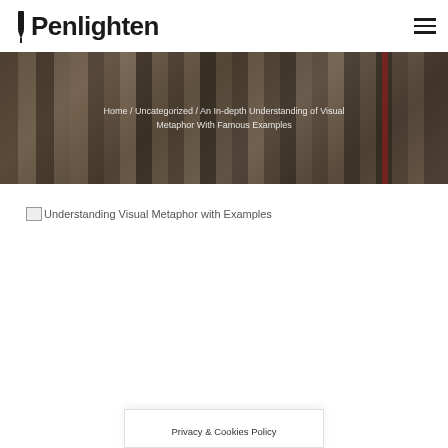Penlighten
[Figure (photo): Hero banner showing spines of books on a shelf, dark earthy tones with browns and one red accent spine, used as background image]
Home / Uncategorized / An In-depth Understanding of Visual Metaphor With Famous Examples
[Figure (photo): Broken image placeholder labeled 'Understanding Visual Metaphor with Examples']
Privacy & Cookies Policy